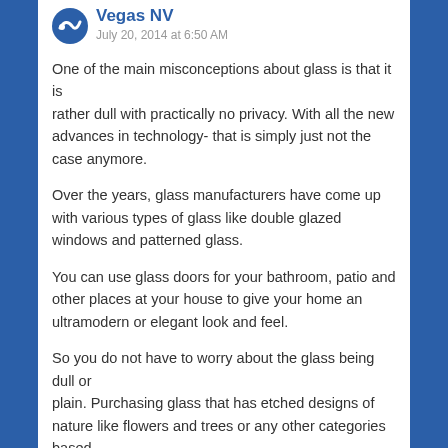Vegas NV
July 20, 2014 at 6:50 AM
One of the main misconceptions about glass is that it is rather dull with practically no privacy. With all the new advances in technology- that is simply just not the case anymore.
Over the years, glass manufacturers have come up with various types of glass like double glazed windows and patterned glass.
You can use glass doors for your bathroom, patio and other places at your house to give your home an ultramodern or elegant look and feel.
So you do not have to worry about the glass being dull or plain. Purchasing glass that has etched designs of nature like flowers and trees or any other categories based